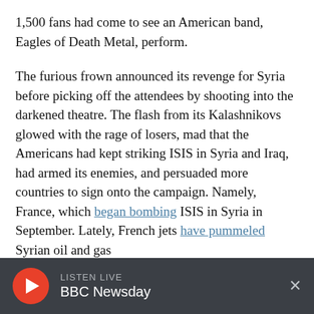1,500 fans had come to see an American band, Eagles of Death Metal, perform.
The furious frown announced its revenge for Syria before picking off the attendees by shooting into the darkened theatre. The flash from its Kalashnikovs glowed with the rage of losers, mad that the Americans had kept striking ISIS in Syria and Iraq, had armed its enemies, and persuaded more countries to sign onto the campaign. Namely, France, which began bombing ISIS in Syria in September. Lately, French jets have pummeled Syrian oil and gas fields in an effort to cut off the militant group's
LISTEN LIVE BBC Newsday